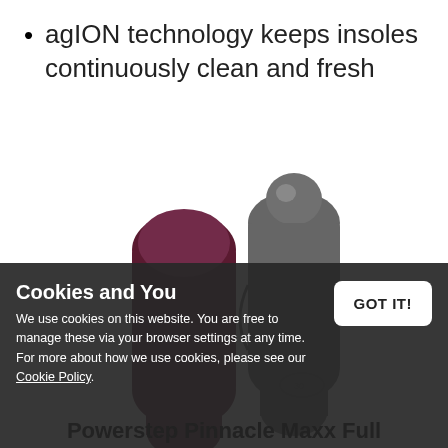agION technology keeps insoles continuously clean and fresh
[Figure (photo): Two shoe insoles side by side — left insole is dark maroon/burgundy fabric side up, right insole is grey rubber/foam bottom side visible, both shown at an angle.]
Cookies and You
We use cookies on this website. You are free to manage these via your browser settings at any time. For more about how we use cookies, please see our Cookie Policy.
GOT IT!
Powerstep Pinnacle Maxx Full